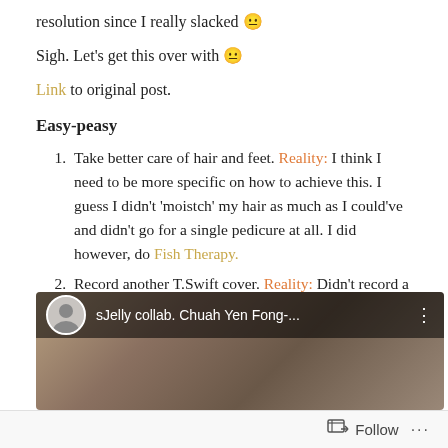resolution since I really slacked 😐
Sigh. Let's get this over with 😐
Link to original post.
Easy-peasy
Take better care of hair and feet. Reality: I think I need to be more specific on how to achieve this. I guess I didn't 'moistch' my hair as much as I could've and didn't go for a single pedicure at all. I did however, do Fish Therapy.
Record another T.Swift cover. Reality: Didn't record a single T.Swift Cover. But I did do a cover of Kari Jobe's Love Came Down
[Figure (screenshot): Video thumbnail showing 'sJelly collab. Chuah Yen Fong-...' with a circular avatar of a person and three-dot menu icon on a dark overlay bar, over a blurred brown/gold background image.]
Follow ...